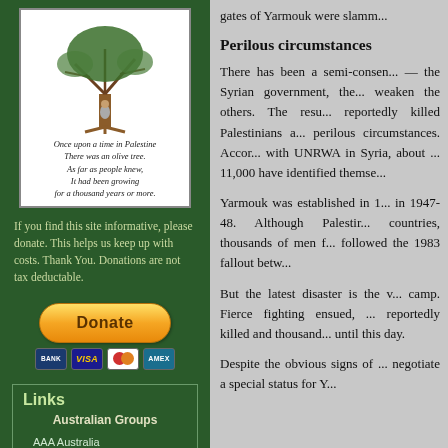[Figure (illustration): Illustration of an olive tree with a small figure beneath it]
Once upon a time in Palestine
There was an olive tree.
As far as people knew,
It had been growing
for a thousand years or more.
If you find this site informative, please donate. This helps us keep up with costs. Thank You. Donations are not tax deductable.
[Figure (other): PayPal Donate button with payment card icons (Bank, VISA, Mastercard, Amex)]
Links
Australian Groups
AAA Australia
AFOPA Adelaide
AFP Melbourne
AJPP Canberra
gates of Yarmouk were slamm...
Perilous circumstances
There has been a semi-consen... — the Syrian government, the... weaken the others. The resu... reportedly killed Palestinians a... perilous circumstances. Accor... with UNRWA in Syria, about ... 11,000 have identified themse...
Yarmouk was established in 1... in 1947-48. Although Palestir... countries, thousands of men f... followed the 1983 fallout betw...
But the latest disaster is the v... camp. Fierce fighting ensued, ... reportedly killed and thousand... until this day.
Despite the obvious signs of ... negotiate a special status for Y...